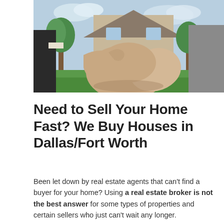[Figure (photo): Two people shaking hands in front of a house with green lawn and trees in the background. Left person wears a dark suit, right person wears a grey jacket.]
Need to Sell Your Home Fast? We Buy Houses in Dallas/Fort Worth
Been let down by real estate agents that can't find a buyer for your home? Using a real estate broker is not the best answer for some types of properties and certain sellers who just can't wait any longer.